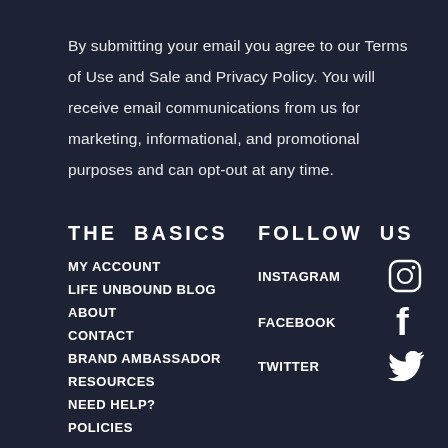By submitting your email you agree to our Terms of Use and Sale and Privacy Policy. You will receive email communications from us for marketing, informational, and promotional purposes and can opt-out at any time.
THE BASICS
MY ACCOUNT
LIFE UNBOUND BLOG
ABOUT
CONTACT
BRAND AMBASSADOR
RESOURCES
NEED HELP?
POLICIES
FOLLOW US
INSTAGRAM
FACEBOOK
TWITTER